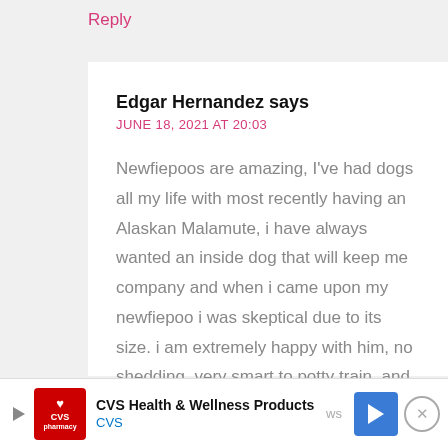Reply
Edgar Hernandez says
JUNE 18, 2021 AT 20:03
Newfiepoos are amazing, I've had dogs all my life with most recently having an Alaskan Malamute, i have always wanted an inside dog that will keep me company and when i came upon my newfiepoo i was skeptical due to its size. i am extremely happy with him, no shedding, very smart to potty train, and is a great company, i
[Figure (infographic): CVS Health & Wellness Products advertisement banner at the bottom of the page, showing CVS pharmacy logo, ad title, CVS subtitle, a blue navigation icon, and a close button.]